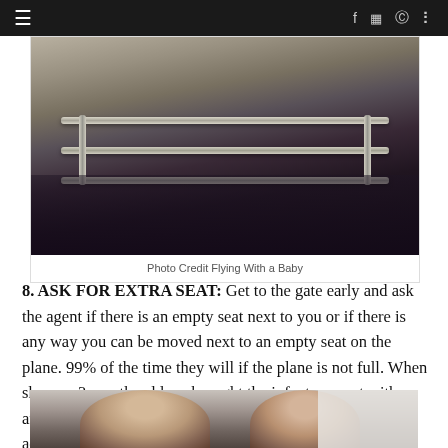≡  f  ⊡  ⊕  ↝
[Figure (photo): Interior airplane photo showing bassinet/baby holder metal frame attached to airplane wall, with dark seat visible]
Photo Credit Flying With a Baby
8. ASK FOR EXTRA SEAT: Get to the gate early and ask the agent if there is an empty seat next to you or if there is any way you can be moved next to an empty seat on the plane. 99% of the time they will if the plane is not full. When she was 3 months old we brought the infant car seat with us and at check in asked for empty seat. They quickly accommodated us.
[Figure (photo): Photo of two people (man and woman) sitting in airplane seats, visible from shoulders up]